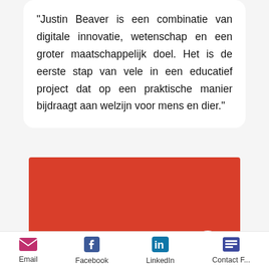"Justin Beaver is een combinatie van digitale innovatie, wetenschap en een groter maatschappelijk doel. Het is de eerste stap van vele in een educatief project dat op een praktische manier bijdraagt aan welzijn voor mens en dier."
[Figure (other): Red rectangular block serving as a background or image placeholder, with a circular white scroll-to-top button in the lower right corner containing an upward chevron arrow.]
Email  Facebook  LinkedIn  Contact F...